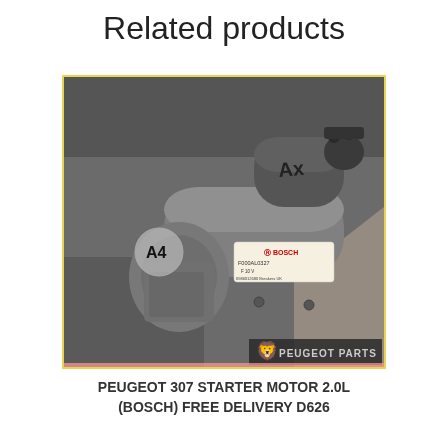Related products
[Figure (photo): Photo of a Peugeot 307 starter motor (Bosch) placed on a dark surface. The motor has a Bosch label with part number F000AL0327. Labels 'A4' are handwritten on the motor and on a circular sticker. A Peugeot Parts watermark logo appears in the bottom right corner of the image.]
PEUGEOT 307 STARTER MOTOR 2.0L (BOSCH) FREE DELIVERY D626